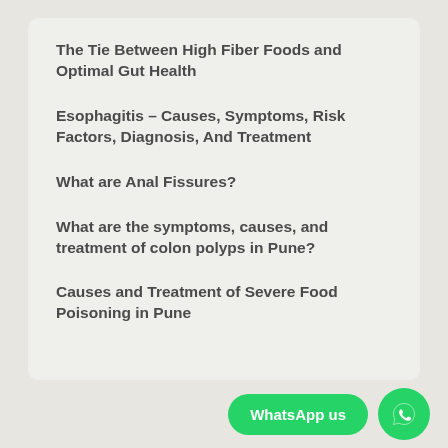The Tie Between High Fiber Foods and Optimal Gut Health
Esophagitis – Causes, Symptoms, Risk Factors, Diagnosis, And Treatment
What are Anal Fissures?
What are the symptoms, causes, and treatment of colon polyps in Pune?
Causes and Treatment of Severe Food Poisoning in Pune
[Figure (logo): WhatsApp us button (green rounded rectangle) with WhatsApp icon (green circle with phone handset)]